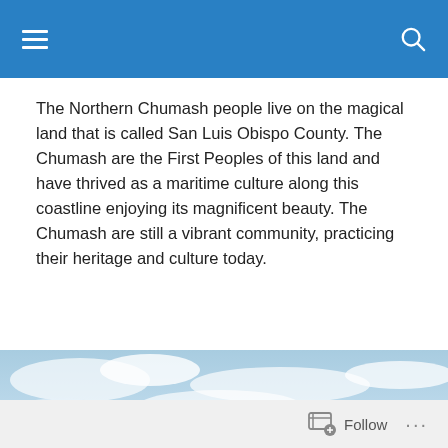[Navigation bar with hamburger menu and search icon]
The Northern Chumash people live on the magical land that is called San Luis Obispo County. The Chumash are the First Peoples of this land and have thrived as a maritime culture along this coastline enjoying its magnificent beauty. The Chumash are still a vibrant community, practicing their heritage and culture today.
[Figure (photo): Aerial panoramic photograph of the San Luis Obispo County coastline showing rugged coastal terrain, green and brown hills, ocean, and cloudy blue sky.]
Follow ...